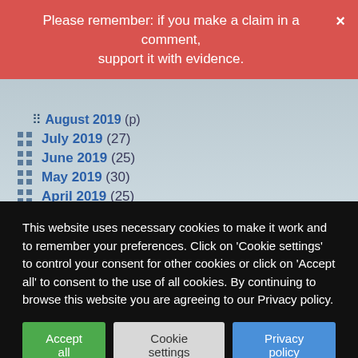Please remember: if you make a claim in a comment, support it with evidence.
July 2019 (27)
June 2019 (25)
May 2019 (30)
April 2019 (25)
March 2019 (24)
February 2019 (25)
January 2019 (28)
December 2018 (27)
November 2018 (27)
This website uses necessary cookies to make it work and to remember your preferences. Click on 'Cookie settings' to control your consent for other cookies or click on 'Accept all' to consent to the use of all cookies. By continuing to browse this website you are agreeing to our Privacy policy.
Accept all | Cookie settings | Privacy policy